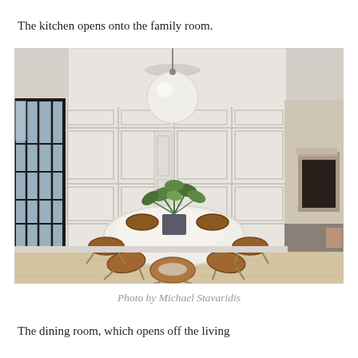The kitchen opens onto the family room.
[Figure (photo): A bright, elegant dining room with white paneled walls, a patterned dark ceiling, large black-framed windows, a round white marble table surrounded by bentwood chairs with metal legs, a large spherical white pendant light hanging above, and a plant centerpiece. Through a doorway to the right, a fireplace is visible in the adjacent living room.]
Photo by Michael Stavaridis
The dining room, which opens off the living